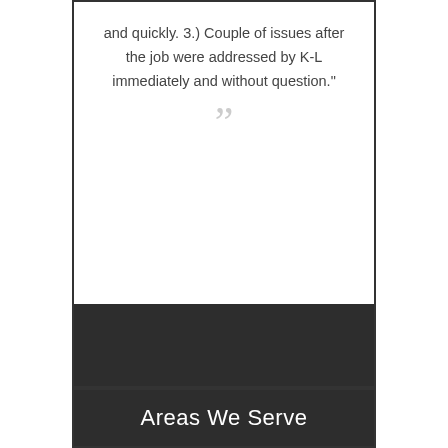and quickly. 3.) Couple of issues after the job were addressed by K-L immediately and without question."
Areas We Serve